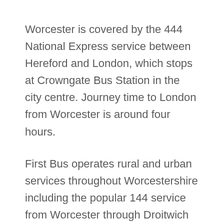Worcester is covered by the 444 National Express service between Hereford and London, which stops at Crowngate Bus Station in the city centre. Journey time to London from Worcester is around four hours.
First Bus operates rural and urban services throughout Worcestershire including the popular 144 service from Worcester through Droitwich Spa and Bromsgrove to Birmingham city centre which runs every 30 minutes. This has recently re-badged as the Salt Road service to reflect Droitwich's salt industry heritage. Look